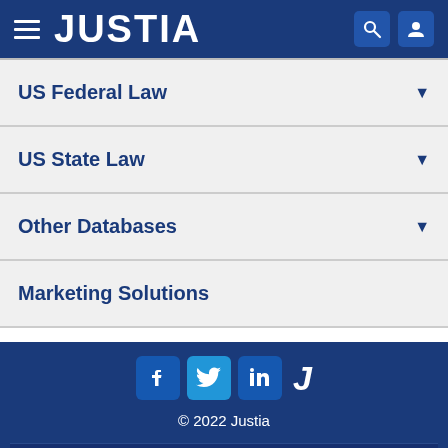JUSTIA
US Federal Law
US State Law
Other Databases
Marketing Solutions
[Figure (logo): Social media icons: Facebook, Twitter, LinkedIn, and Justia J logo]
© 2022 Justia
Justia Connect
Legal Portal